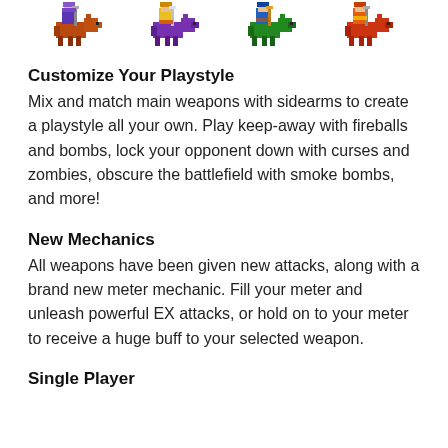[Figure (illustration): Four colorful pixel art sprites of fantasy warriors riding creatures, arranged in a horizontal row at the top of the page.]
Customize Your Playstyle
Mix and match main weapons with sidearms to create a playstyle all your own. Play keep-away with fireballs and bombs, lock your opponent down with curses and zombies, obscure the battlefield with smoke bombs, and more!
New Mechanics
All weapons have been given new attacks, along with a brand new meter mechanic. Fill your meter and unleash powerful EX attacks, or hold on to your meter to receive a huge buff to your selected weapon.
Single Player